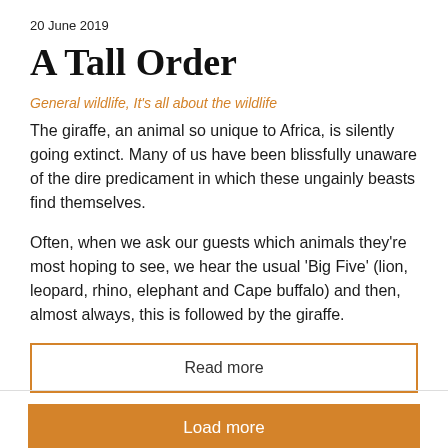20 June 2019
A Tall Order
General wildlife, It's all about the wildlife
The giraffe, an animal so unique to Africa, is silently going extinct. Many of us have been blissfully unaware of the dire predicament in which these ungainly beasts find themselves.
Often, when we ask our guests which animals they're most hoping to see, we hear the usual 'Big Five' (lion, leopard, rhino, elephant and Cape buffalo) and then, almost always, this is followed by the giraffe.
Read more
Load more